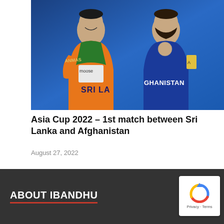[Figure (photo): Two cricket players in jerseys — one in Sri Lanka colorful kit (orange, green, blue) on the left, one in Afghanistan blue kit on the right, posing against a blue background. Text visible: 'GHANISTAN', 'SRI LA', 'moose', 'ANMAS'.]
Asia Cup 2022 – 1st match between Sri Lanka and Afghanistan
August 27, 2022
ABOUT IBANDHU